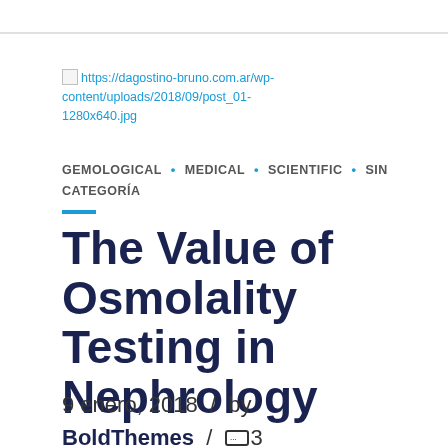[Figure (other): Broken image placeholder with link to post_01-1280x640.jpg on dagostino-bruno.com.ar]
GEMOLOGICAL • MEDICAL • SCIENTIFIC • SIN CATEGORÍA
The Value of Osmolality Testing in Nephrology
9 enero, 2018 / by BoldThemes / 3